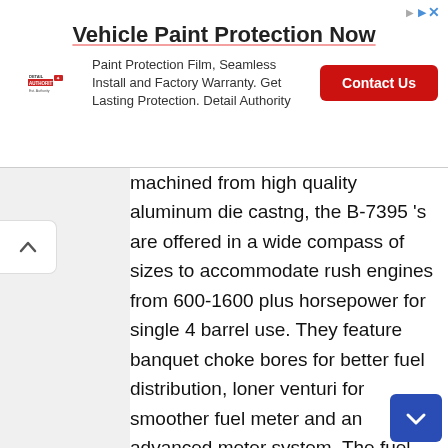[Figure (other): Advertisement banner for Vehicle Paint Protection. Shows Detail Authority logo, title 'Vehicle Paint Protection Now', description text, and red 'Contact Us' button.]
machined from high quality aluminum die castng, the B-7395 's are offered in a wide compass of sizes to accommodate rush engines from 600-1600 plus horsepower for single 4 barrel use. They feature banquet choke bores for better fuel distribution, loner venturi for smoother fuel meter and an advanced meter system. The fuel jets and their pickups are located so they remain in liquid fuel flush when acceleration rates exceed 3.5 G 's, while allowing the use of exponent valves for extra tune if needed. The light weight quarter metering blocks feature a lengthen main meter well and multiple shed blood systems providing